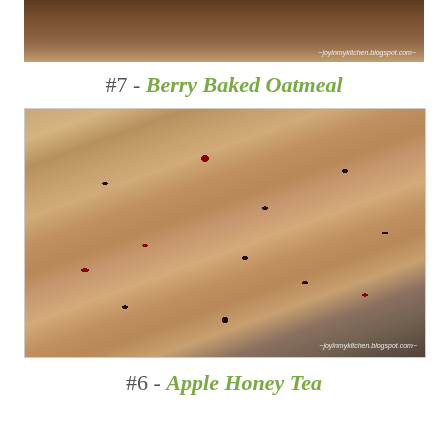[Figure (photo): Top portion of a food photo, partially cropped, showing a baked dish with a watermark reading ~joylnmykitchen.blogspot.com~]
#7 - Berry Baked Oatmeal
[Figure (photo): A rectangular baking pan filled with berry baked oatmeal, showing oats with scattered blueberries and raspberries baked into a golden-brown crust. Watermark reads ~joylnmykitchen.blogspot.com~]
#6 - Apple Honey Tea